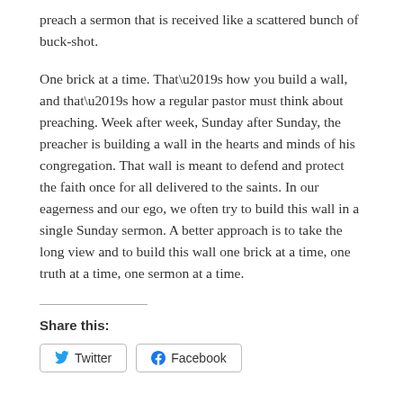preach a sermon that is received like a scattered bunch of buck-shot.
One brick at a time. That’s how you build a wall, and that’s how a regular pastor must think about preaching. Week after week, Sunday after Sunday, the preacher is building a wall in the hearts and minds of his congregation. That wall is meant to defend and protect the faith once for all delivered to the saints. In our eagerness and our ego, we often try to build this wall in a single Sunday sermon. A better approach is to take the long view and to build this wall one brick at a time, one truth at a time, one sermon at a time.
Share this:
Twitter   Facebook